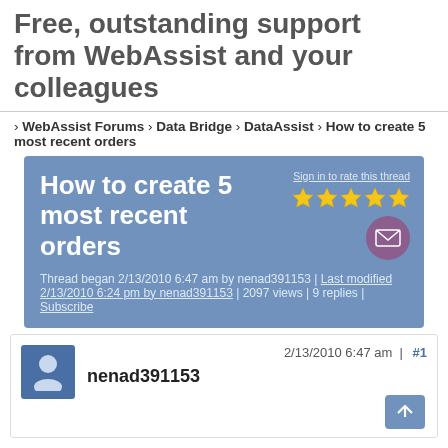Free, outstanding support from WebAssist and your colleagues
› WebAssist Forums › Data Bridge › DataAssist › How to create 5 most recent orders
How to create 5 most recent orders
Thread began 2/13/2010 6:47 am by nenad391153 | Last modified 2/13/2010 6:24 pm by nenad391153 | 2097 views | 9 replies | Subscribe
2/13/2010 6:47 am | #1
nenad391153